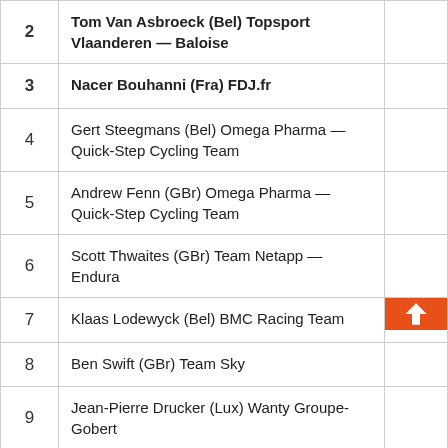| # | Rider |  |
| --- | --- | --- |
| 2 | Tom Van Asbroeck (Bel) Topsport Vlaanderen — Baloise |  |
| 3 | Nacer Bouhanni (Fra) FDJ.fr |  |
| 4 | Gert Steegmans (Bel) Omega Pharma — Quick-Step Cycling Team |  |
| 5 | Andrew Fenn (GBr) Omega Pharma — Quick-Step Cycling Team |  |
| 6 | Scott Thwaites (GBr) Team Netapp — Endura |  |
| 7 | Klaas Lodewyck (Bel) BMC Racing Team | ↑ |
| 8 | Ben Swift (GBr) Team Sky |  |
| 9 | Jean-Pierre Drucker (Lux) Wanty Groupe-Gobert |  |